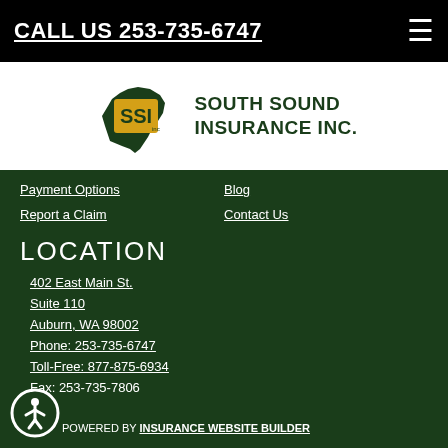CALL US 253-735-6747
[Figure (logo): South Sound Insurance Inc. logo with SSI text on Washington state outline shape in dark green and gold, beside company name text]
Payment Options
Blog
Report a Claim
Contact Us
LOCATION
402 East Main St.
Suite 110
Auburn, WA 98002
Phone: 253-735-6747
Toll-Free: 877-875-6934
Fax: 253-735-7806
POWERED BY INSURANCE WEBSITE BUILDER